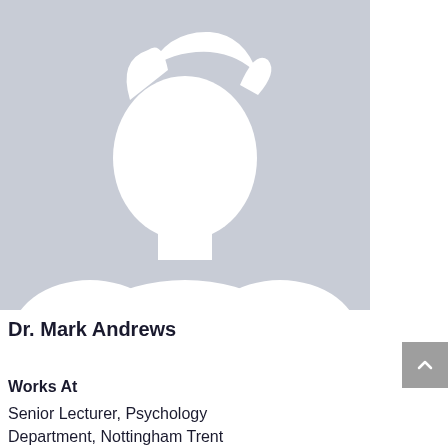[Figure (illustration): Default profile silhouette image — white male silhouette on a light blue-grey background]
Dr. Mark Andrews
Works At
Senior Lecturer, Psychology Department, Nottingham Trent University, England